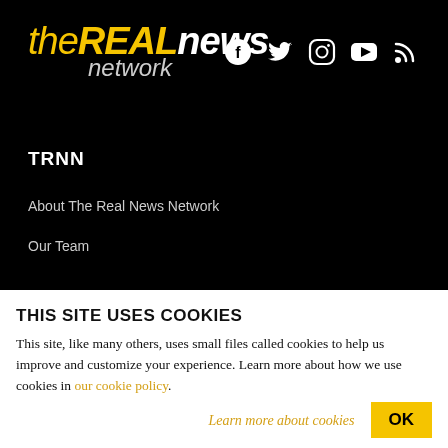[Figure (logo): The Real News Network logo — 'the' in yellow italic, 'REAL' in large yellow bold italic, 'news' in white bold italic, 'network' in gray italic below]
[Figure (infographic): Social media icons: Facebook, Twitter, Instagram, YouTube, RSS — white on black background]
TRNN
About The Real News Network
Our Team
THIS SITE USES COOKIES
This site, like many others, uses small files called cookies to help us improve and customize your experience. Learn more about how we use cookies in our cookie policy.
Learn more about cookies
OK